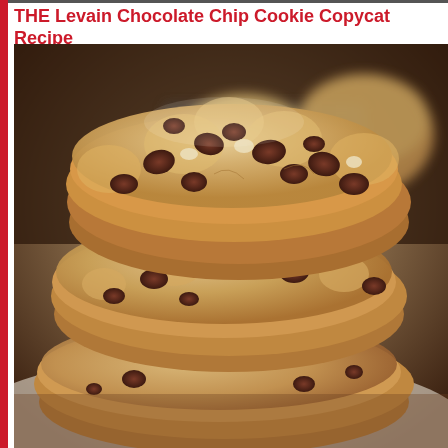THE Levain Chocolate Chip Cookie Copycat Recipe
[Figure (photo): Close-up photograph of stacked Levain-style chocolate chip cookies, thick and domed, with visible chocolate chips and a golden-brown crust. Multiple cookies are stacked in the foreground on a white surface, with a wire cooling rack and more cookies visible in the blurred background.]